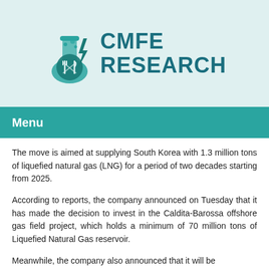[Figure (logo): CMFE Research logo with a teal laboratory flask containing crossed fork and knife icons, and a lightning bolt, alongside the text CMFE RESEARCH in teal bold font]
Menu
The move is aimed at supplying South Korea with 1.3 million tons of liquefied natural gas (LNG) for a period of two decades starting from 2025.
According to reports, the company announced on Tuesday that it has made the decision to invest in the Caldita-Barossa offshore gas field project, which holds a minimum of 70 million tons of Liquefied Natural Gas reservoir.
Meanwhile, the company also announced that it will be